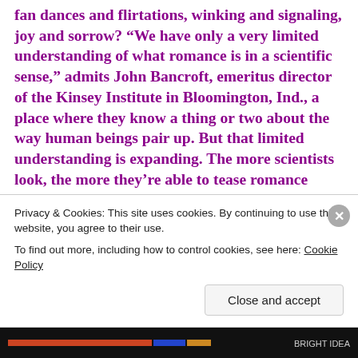fan dances and flirtations, winking and signaling, joy and sorrow? “We have only a very limited understanding of what romance is in a scientific sense,” admits John Bancroft, emeritus director of the Kinsey Institute in Bloomington, Ind., a place where they know a thing or two about the way human beings pair up. But that limited understanding is expanding. The more scientists look, the more they’re able to tease romance apart into its individual strands—the visual, auditory, olfactory, tactile, neurochemical processes that make it possible. None of those things
Privacy & Cookies: This site uses cookies. By continuing to use this website, you agree to their use.
To find out more, including how to control cookies, see here: Cookie Policy
Close and accept